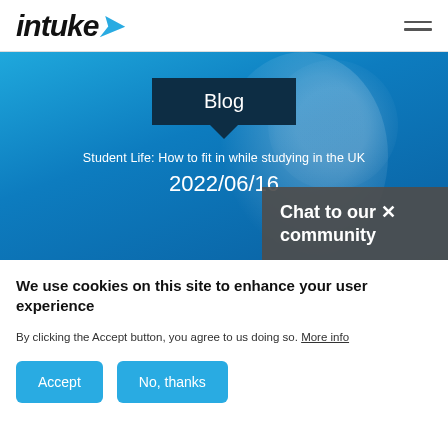intake (logo)
[Figure (photo): Blue-tinted hero banner showing a smiling student, with a dark navy speech bubble containing 'Blog', a subtitle 'Student Life: How to fit in while studying in the UK', the date '2022/06/16', and a dark 'Chat to our community' overlay widget in the bottom right.]
We use cookies on this site to enhance your user experience
By clicking the Accept button, you agree to us doing so. More info
Accept
No, thanks